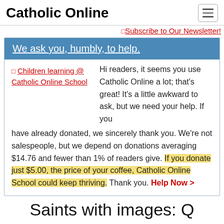Catholic Online
[Figure (other): Broken image placeholder for Subscribe to Our Newsletter!]
We ask you, humbly, to help.
[Figure (other): Broken image placeholder for Children learning @ Catholic Online School]
Hi readers, it seems you use Catholic Online a lot; that's great! It's a little awkward to ask, but we need your help. If you have already donated, we sincerely thank you. We're not salespeople, but we depend on donations averaging $14.76 and fewer than 1% of readers give. If you donate just $5.00, the price of your coffee, Catholic Online School could keep thriving. Thank you. Help Now >
Saints with images: Q